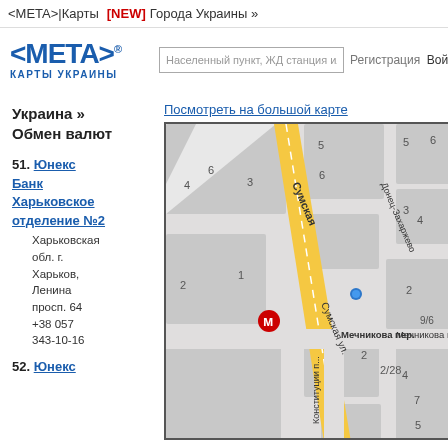<META> | Карты [NEW] Города Украины »
[Figure (logo): META maps logo with blue angle brackets and text КАРТЫ УКРАИНЫ below]
Населенный пункт, ЖД станция или адрес
Регистрация  Войти
Украина » Обмен валют
51. Юнекс Банк Харьковское отделение №2
Харьковская обл. г. Харьков, Ленина просп. 64
+38 057 343-10-16
[Figure (map): Street map of Kharkiv showing Сумская улица (Sumska street) highlighted in yellow/orange, with surrounding streets including Мечникова пер. and Донец-Захаржевс. A red metro symbol M and a blue dot marker are visible on the map.]
Посмотреть на большой карте
52. Юнекс